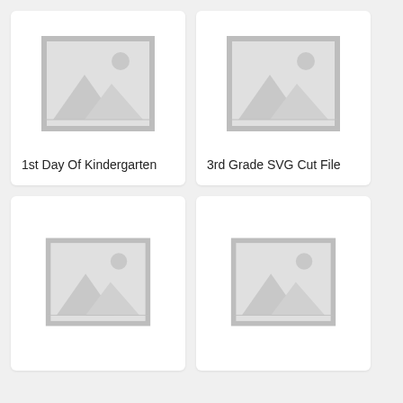[Figure (illustration): Placeholder image icon showing mountains and sun for product: 1st Day Of Kindergarten]
1st Day Of Kindergarten
[Figure (illustration): Placeholder image icon showing mountains and sun for product: 3rd Grade SVG Cut File]
3rd Grade SVG Cut File
[Figure (illustration): Placeholder image icon showing mountains and sun (bottom left card)]
[Figure (illustration): Placeholder image icon showing mountains and sun (bottom right card)]